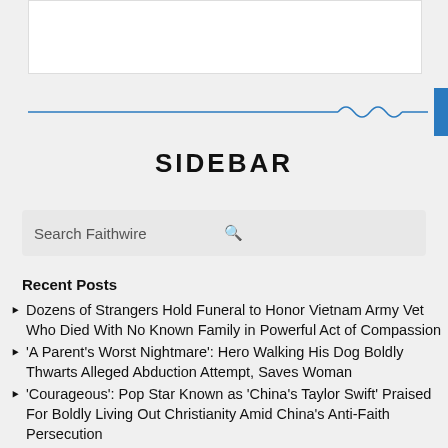[Figure (other): White image/banner box at top]
SIDEBAR
Search Faithwire
Recent Posts
Dozens of Strangers Hold Funeral to Honor Vietnam Army Vet Who Died With No Known Family in Powerful Act of Compassion
'A Parent's Worst Nightmare': Hero Walking His Dog Boldly Thwarts Alleged Abduction Attempt, Saves Woman
'Courageous': Pop Star Known as 'China's Taylor Swift' Praised For Boldly Living Out Christianity Amid China's Anti-Faith Persecution